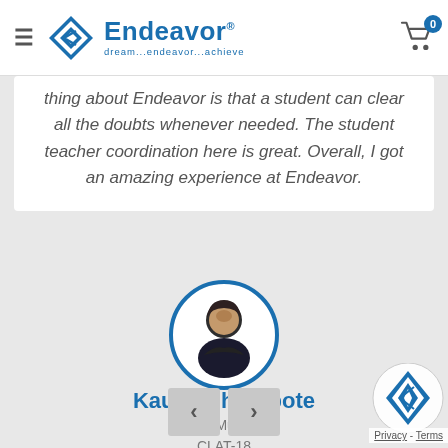Endeavor — dream...endeavor...achieve
thing about Endeavor is that a student can clear all the doubts whenever needed. The student teacher coordination here is great. Overall, I got an amazing experience at Endeavor.
[Figure (photo): Circular profile photo of Kaustubh Kapote, a young man in a dark shirt, with a blue circular border.]
Kaustubh Kapote
GLC (Mumbai)
CLAT-18
[Figure (logo): Endeavor logo watermark in bottom right corner with Privacy - Terms text below it.]